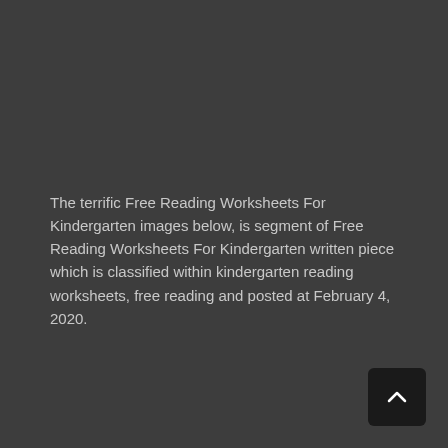The terrific Free Reading Worksheets For Kindergarten images below, is segment of Free Reading Worksheets For Kindergarten written piece which is classified within kindergarten reading worksheets, free reading and posted at February 4, 2020.
[Figure (other): Scroll-to-top button: dark rounded square with an upward-pointing chevron/caret in white]